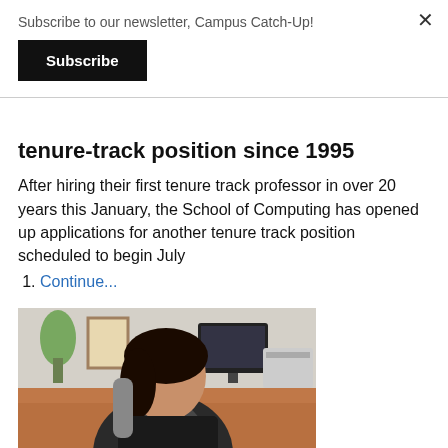Subscribe to our newsletter, Campus Catch-Up!
Subscribe
tenure-track position since 1995
After hiring their first tenure track professor in over 20 years this January, the School of Computing has opened up applications for another tenure track position scheduled to begin July
1.  Continue...
[Figure (photo): A woman sitting at a desk in an office, with a computer monitor and printer visible in the background, along with plants and framed pictures.]